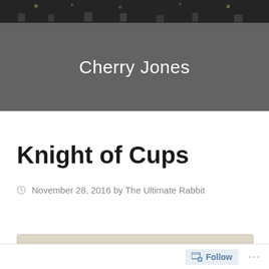[Figure (photo): Dark banner with crowd photo strip at top and gray background below]
Cherry Jones
Knight of Cups
November 28, 2016 by The Ultimate Rabbit
[Figure (photo): Partially visible tarot card image at bottom of content area]
Follow ...